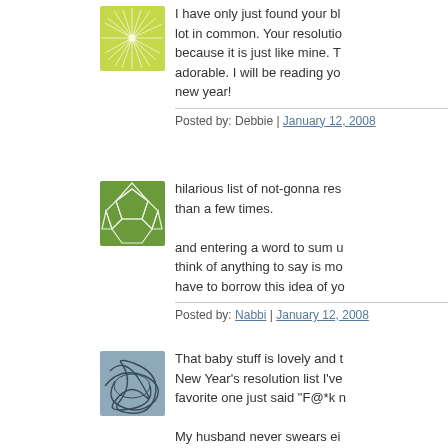[Figure (illustration): Green starburst/radial pattern avatar for user Debbie]
I have only just found your bl lot in common. Your resolutio because it is just like mine. T adorable. I will be reading yo new year!
Posted by: Debbie | January 12, 2008
[Figure (illustration): Green pentagon/soccer ball pattern avatar for user Nabbi]
hilarious list of not-gonna res than a few times.

and entering a word to sum u think of anything to say is mo have to borrow this idea of yo
Posted by: Nabbi | January 12, 2008
[Figure (illustration): Blue-grey tangled lines avatar for third commenter]
That baby stuff is lovely and t New Year's resolution list I've favorite one just said "F@*k n

My husband never swears ei mouthed as myself until our s